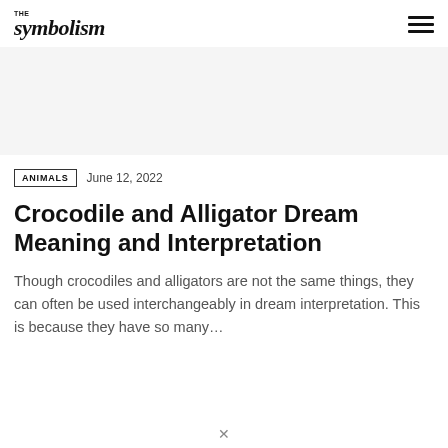THE symbolism
ANIMALS  June 12, 2022
Crocodile and Alligator Dream Meaning and Interpretation
Though crocodiles and alligators are not the same things, they can often be used interchangeably in dream interpretation. This is because they have so many…